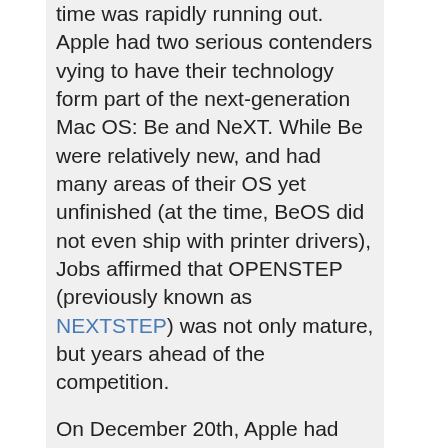time was rapidly running out. Apple had two serious contenders vying to have their technology form part of the next-generation Mac OS: Be and NeXT. While Be were relatively new, and had many areas of their OS yet unfinished (at the time, BeOS did not even ship with printer drivers), Jobs affirmed that OPENSTEP (previously known as NEXTSTEP) was not only mature, but years ahead of the competition.
On December 20th, Apple had made up its mind: it was to buy NeXT, for $427 million. Steve Jobs was coming home.
Mac OS X Server 1.0 Codename: Rhapsody